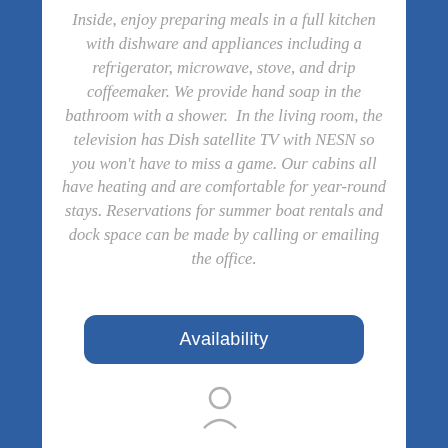Inside, enjoy preparing meals in a full kitchen with dishware and appliances including a refrigerator, microwave, stove, and drip coffeemaker. We provide hand soap in the bathroom with a shower.  In the living room, the television has Dish satellite TV with NESN so you won't have to miss a game. Our cabins all have heating and are comfortable for year-round stays. Reservations for summer boat rentals and dock space can be made by calling or emailing the office.
[Figure (other): Availability button — a rounded rectangle button with blue background and white text reading 'Availability']
[Figure (illustration): Small icon at the bottom center of the white panel, partially visible]